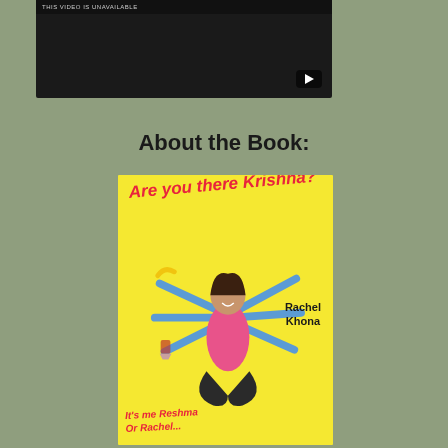[Figure (screenshot): Embedded YouTube video player with dark background, showing a video thumbnail with a play button in the bottom right corner and a bar at the top with text 'THIS VIDEO IS UNAVAILABLE']
About the Book:
[Figure (illustration): Book cover of 'Are you there Krishna?' by Rachel Khona. Yellow background with a woman in a yoga lotus pose wearing a pink top and black pants, depicted with multiple blue arms holding various items (wine glass, banana, spray bottle, phone, money, etc.) in the style of a Hindu deity. The subtitle reads 'It's me Reshma Or Rachel...']